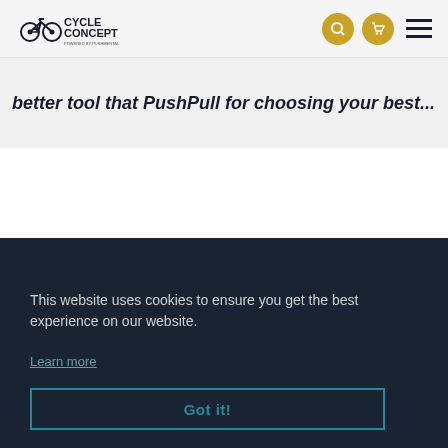[Figure (logo): Cycle Concept logo with bicycle icon and text 'CYCLE CONCEPT POWERED BY PUSHMENTAL']
better tool that PushPull for choosing your best...
This website uses cookies to ensure you get the best experience on our website.
Learn more
Got it!